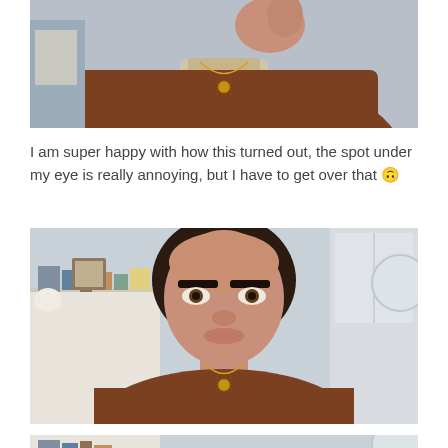[Figure (photo): Woman in brown top wearing a gold pendant necklace, photo cropped at top showing torso and partial face area]
I am super happy with how this turned out, the spot under my eye is really annoying, but I have to get over that 🙃
[Figure (photo): Woman facing camera with dark hair pulled back, thick eyebrows, wearing a brown top with gold necklace, standing in front of a shelf with makeup and decor items]
[Figure (photo): Same woman, another photo cropped showing top of head/forehead area]